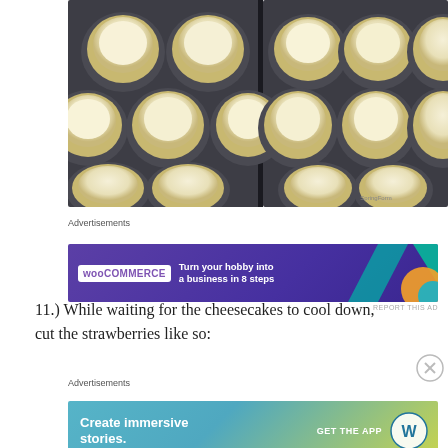[Figure (photo): Two muffin tins filled with unbaked cheesecake batter in paper liners, viewed from above on a dark surface.]
Advertisements
[Figure (other): WooCommerce advertisement banner: 'Turn your hobby into a business in 8 steps']
11.) While waiting for the cheesecakes to cool down, cut the strawberries like so:
Advertisements
[Figure (other): WordPress advertisement banner: 'Create immersive stories. GET THE APP']